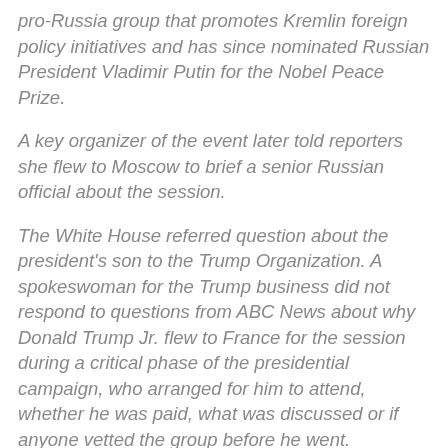pro-Russia group that promotes Kremlin foreign policy initiatives and has since nominated Russian President Vladimir Putin for the Nobel Peace Prize.
A key organizer of the event later told reporters she flew to Moscow to brief a senior Russian official about the session.
The White House referred question about the president's son to the Trump Organization. A spokeswoman for the Trump business did not respond to questions from ABC News about why Donald Trump Jr. flew to France for the session during a critical phase of the presidential campaign, who arranged for him to attend, whether he was paid, what was discussed or if anyone vetted the group before he went.
The group sponsoring the session, the Center of